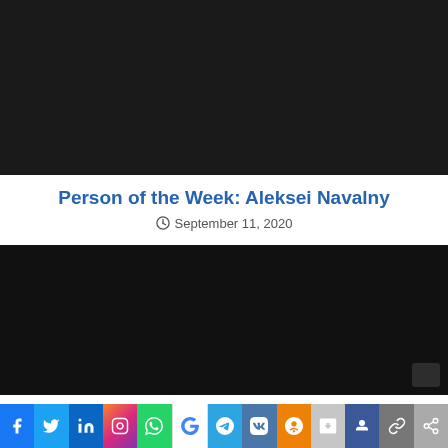[Figure (photo): Dark/black video thumbnail at top of article]
Person of the Week: Aleksei Navalny
September 11, 2020
[Figure (photo): Dark/black video thumbnail below title]
Social share bar: Facebook, Twitter, LinkedIn, Instagram, WhatsApp, Google, Telegram, VK, OK, WordPress, MySpace, Link, Share